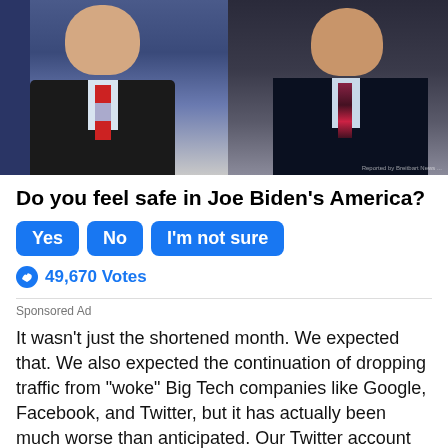[Figure (photo): Two men in dark suits with ties, appearing to be politicians or public figures, against a blue/dark background]
Do you feel safe in Joe Biden's America?
Yes  No  I'm not sure
49,670 Votes
Sponsored Ad
It wasn't just the shortened month. We expected that. We also expected the continuation of dropping traffic from “woke” Big Tech companies like Google, Facebook, and Twitter, but it has actually been much worse than anticipated. Our Twitter account was banned. Both of our YouTube accounts were banned. Facebook “fact-checks” everything we post.